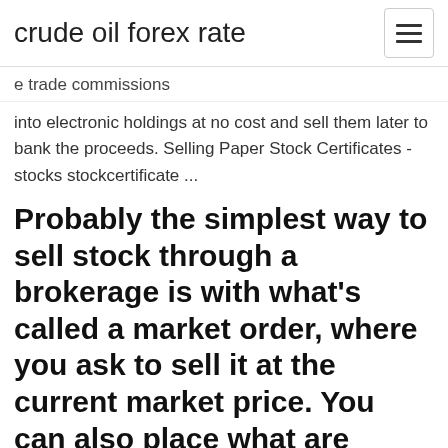crude oil forex rate
e trade commissions
into electronic holdings at no cost and sell them later to bank the proceeds. Selling Paper Stock Certificates - stocks stockcertificate ...
Probably the simplest way to sell stock through a brokerage is with what's called a market order, where you ask to sell it at the current market price. You can also place what are called limit and stop orders, where it will only be sold if the price meets a certain requirement, so you can either dump your shares before the price goes